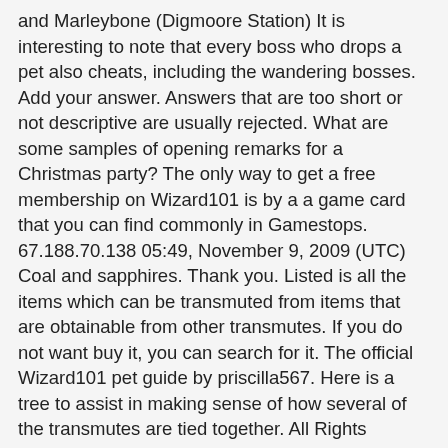and Marleybone (Digmoore Station) It is interesting to note that every boss who drops a pet also cheats, including the wandering bosses. Add your answer. Answers that are too short or not descriptive are usually rejected. What are some samples of opening remarks for a Christmas party? The only way to get a free membership on Wizard101 is by a a game card that you can find commonly in Gamestops. 67.188.70.138 05:49, November 9, 2009 (UTC) Coal and sapphires. Thank you. Listed is all the items which can be transmuted from items that are obtainable from other transmutes. If you do not want buy it, you can search for it. The official Wizard101 pet guide by priscilla567. Here is a tree to assist in making sense of how several of the transmutes are tied together. All Rights Reserved. What does contingent mean in real estate? Cat tails, for instance, only grow in water. These side activities can give experience, money, furniture, gear, and more. Unregistered. … clubpenguin trainer [w101] by mott. … ... Save your crowns but buy stuff @ cro.. How do I get free arena tickets[stri.. … You can find cat tails at quite a few places, like i said